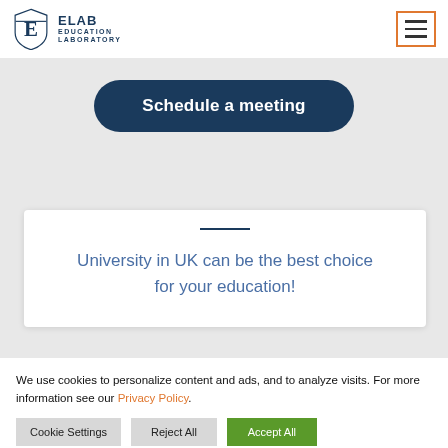[Figure (logo): ELAB Education Laboratory shield logo with letter E and text]
[Figure (other): Hamburger menu button with orange border]
Schedule a meeting
University in UK can be the best choice for your education!
We use cookies to personalize content and ads, and to analyze visits. For more information see our Privacy Policy.
Cookie Settings   Reject All   Accept All